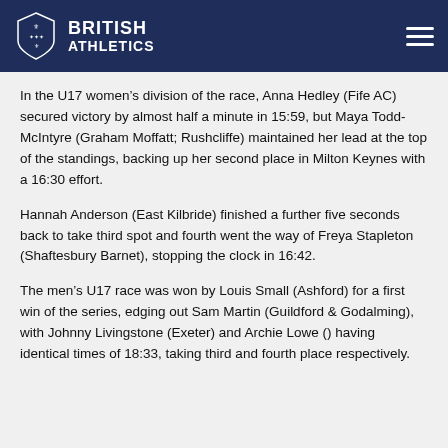BRITISH ATHLETICS
In the U17 women’s division of the race, Anna Hedley (Fife AC) secured victory by almost half a minute in 15:59, but Maya Todd-McIntyre (Graham Moffatt; Rushcliffe) maintained her lead at the top of the standings, backing up her second place in Milton Keynes with a 16:30 effort.
Hannah Anderson (East Kilbride) finished a further five seconds back to take third spot and fourth went the way of Freya Stapleton (Shaftesbury Barnet), stopping the clock in 16:42.
The men’s U17 race was won by Louis Small (Ashford) for a first win of the series, edging out Sam Martin (Guildford & Godalming), with Johnny Livingstone (Exeter) and Archie Lowe () having identical times of 18:33, taking third and fourth place respectively.